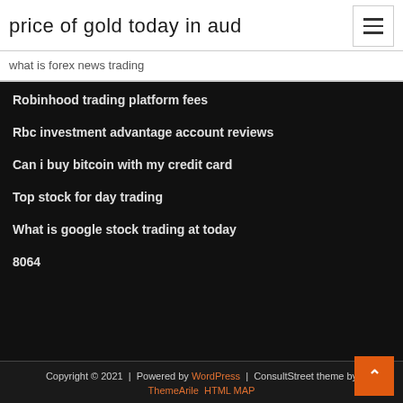price of gold today in aud
what is forex news trading
Robinhood trading platform fees
Rbc investment advantage account reviews
Can i buy bitcoin with my credit card
Top stock for day trading
What is google stock trading at today
8064
Copyright © 2021 | Powered by WordPress | ConsultStreet theme by ThemeArile HTML MAP